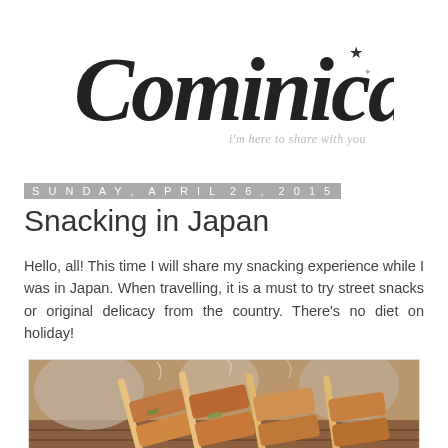[Figure (logo): Cominica blog logo in cursive/script font with star decoration and tagline 'i'm here to share with you']
Sunday, April 26, 2015
Snacking in Japan
Hello, all! This time I will share my snacking experience while I was in Japan. When travelling, it is a must to try street snacks or original delicacy from the country. There's no diet on holiday!
[Figure (photo): Close-up photo of Japanese yakitori skewers (grilled meat skewers) on a grill with steam rising]